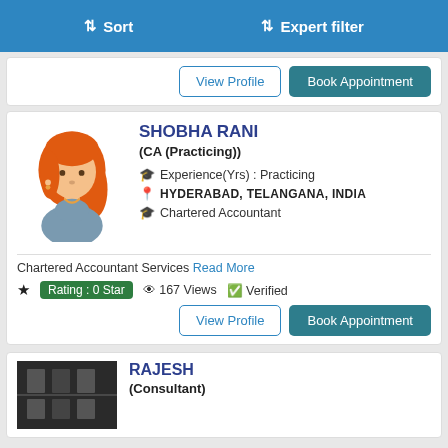Sort   Expert filter
View Profile   Book Appointment
SHOBHA RANI
(CA (Practicing))
Experience(Yrs) : Practicing
HYDERABAD, TELANGANA, INDIA
Chartered Accountant
Chartered Accountant Services Read More
Rating : 0 Star   167 Views   Verified
View Profile   Book Appointment
RAJESH
(Consultant)